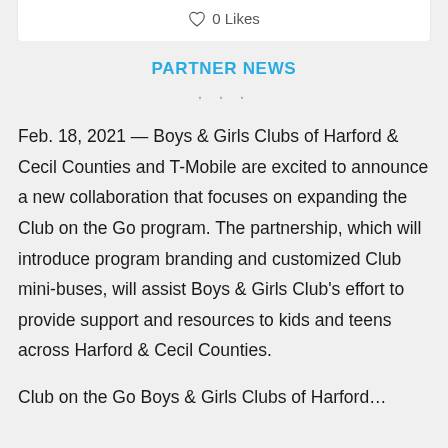0 Likes
PARTNER NEWS
• • •
Feb. 18, 2021 — Boys & Girls Clubs of Harford & Cecil Counties and T-Mobile are excited to announce a new collaboration that focuses on expanding the Club on the Go program. The partnership, which will introduce program branding and customized Club mini-buses, will assist Boys & Girls Club's effort to provide support and resources to kids and teens across Harford & Cecil Counties.
Club on the Go Boys & Girls Clubs of Harford…